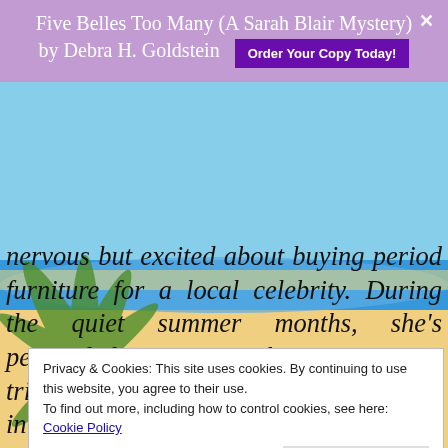Five Belles Too Many (A Sarah Blair Mystery) by Debra H. Goldstein  Order Your Copy Today!
nervous but excited about buying period furniture for a local celebrity. During the quiet summer months, she's persuaded to join her company's triathlon team for a charity competition in Britain's picturesque Cotswolds. But she realises all that glitters is not gold when a fellow competitor collapses and dies.
Privacy & Cookies: This site uses cookies. By continuing to use this website, you agree to their use.
To find out more, including how to control cookies, see here: Cookie Policy
Close and accept